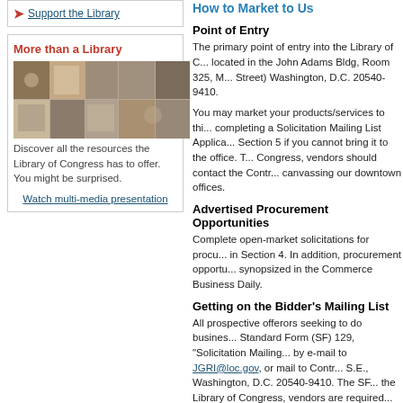Support the Library
More than a Library
[Figure (photo): Mosaic collage of images representing Library resources]
Discover all the resources the Library of Congress has to offer. You might be surprised.
Watch multi-media presentation
How to Market to Us
Point of Entry
The primary point of entry into the Library of Congress is located in the John Adams Bldg, Room 325, ... Street) Washington, D.C. 20540-9410.
You may market your products/services to this office by completing a Solicitation Mailing List Application... Section 5 if you cannot bring it to the office. To... Congress, vendors should contact the Contra... canvassing our downtown offices.
Advertised Procurement Opportunities
Complete open-market solicitations for procu... in Section 4. In addition, procurement opportu... synopsized in the Commerce Business Daily.
Getting on the Bidder's Mailing List
All prospective offerors seeking to do busines... Standard Form (SF) 129, "Solicitation Mailing... by e-mail to JGRI@loc.gov, or mail to Contra... S.E., Washington, D.C. 20540-9410. The SF... the Library of Congress, vendors are require... must enter our database for payment by Elec... payments by Electronic Funds Transfer. A wa... form. See wavier forms under Section 6.
Submitting Bids or Proposals
Bids or proposals may be submitted to the Li... which appear on the web site and generally a... proposals are accepted and reviewed, but on... established need of the Library. (See Unsoli...